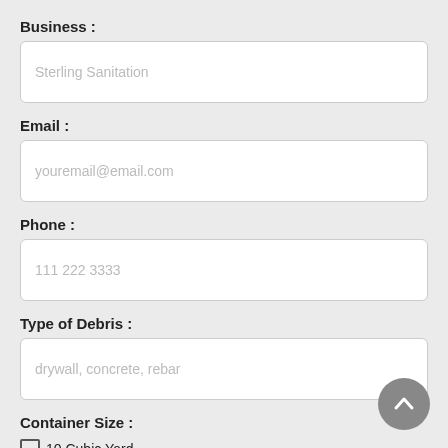Business :
Sterling Sanitation
Email :
youremail@email.com
Phone :
111 222 3333
Type of Debris :
drywall, concrete, rebar
Container Size :
10 Cubic Yard
20 Cubic Yard (partial)
[Figure (other): Floating action button with upward chevron arrow, grey circle]